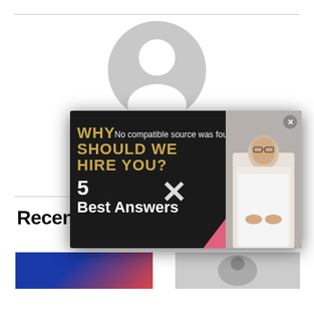[Figure (illustration): Gray placeholder avatar/profile image (circle with person silhouette)]
[Figure (screenshot): Video popup overlay with dark background showing 'WHY SHOULD WE HIRE YOU?' in gold text, '5 Best Answers' in white text, and a 'No compatible source was found for this media.' error message with large X, plus a photo of an older man in white shirt on the right side]
Recent Posts
[Figure (photo): Thumbnail image with blue background, partially visible]
[Figure (photo): Thumbnail image showing back of person's head, partially visible]